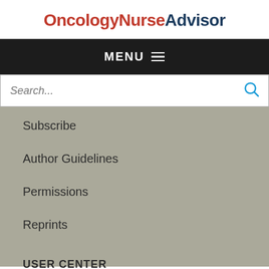OncologyNurseAdvisor
MENU
Search...
Subscribe
Author Guidelines
Permissions
Reprints
USER CENTER
About Us